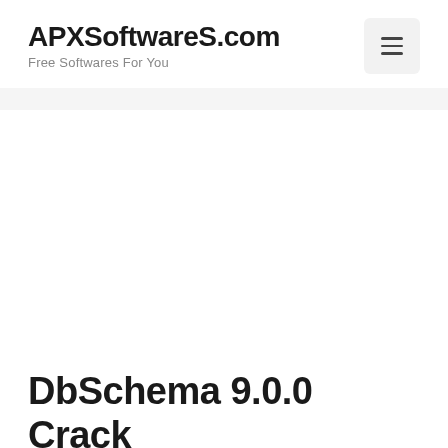APXSoftwareS.com
Free Softwares For You
DbSchema 9.0.0 Crack